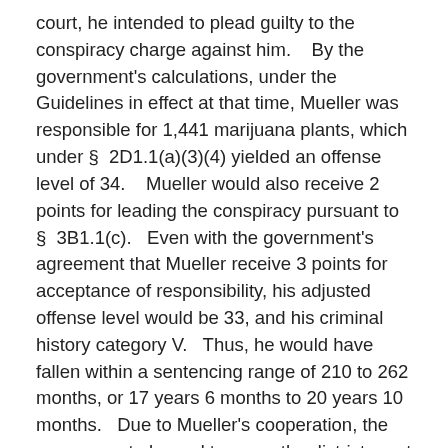court, he intended to plead guilty to the conspiracy charge against him.    By the government's calculations, under the Guidelines in effect at that time, Mueller was responsible for 1,441 marijuana plants, which under §  2D1.1(a)(3)(4) yielded an offense level of 34.    Mueller would also receive 2 points for leading the conspiracy pursuant to §  3B1.1(c).   Even with the government's agreement that Mueller receive 3 points for acceptance of responsibility, his adjusted offense level would be 33, and his criminal history category V.   Thus, he would have fallen within a sentencing range of 210 to 262 months, or 17 years 6 months to 20 years 10 months.   Due to Mueller's cooperation, the government planned to move the district court for a downward departure for substantial assistance pursuant to USSG §  5K1.1.
But the probation officer assigned to this case pointed out a complication with the parties' calculations.    Mueller had a prior drug conviction which on its face would not qualify as